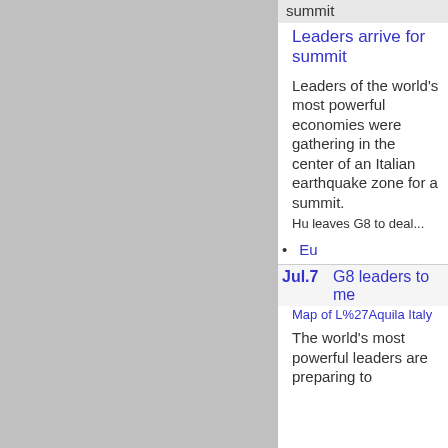[Figure (photo): Large gray area representing an image placeholder on the left side of the page]
summit
Leaders arrive for summit
Leaders of the world's most powerful economies were gathering in the center of an Italian earthquake zone for a summit.
Hu leaves G8 to deal...
Eu
Jul.7
G8 leaders to me
Map of L%27Aquila Italy
The world's most powerful leaders are preparing to